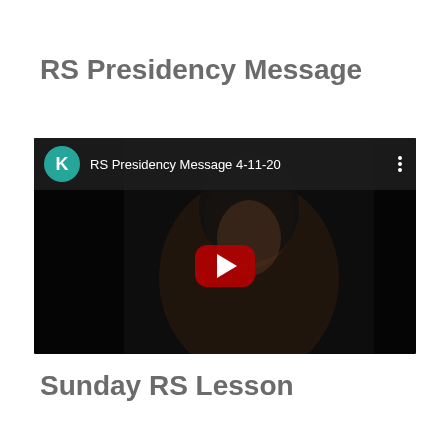RS Presidency Message
[Figure (screenshot): YouTube video thumbnail showing a woman with long dark hair against a dark background. The video header shows a teal avatar circle with letter K, the title 'RS Presidency Message 4-11-20', and a three-dot menu icon. A red YouTube play button is centered over the video.]
Sunday RS Lesson